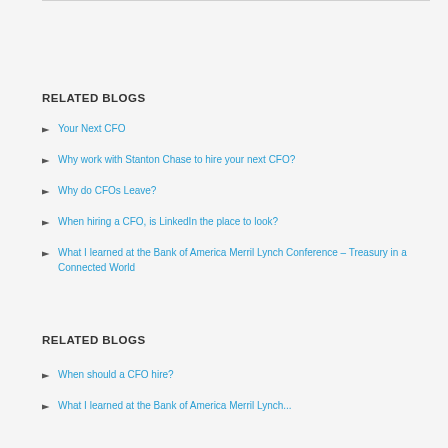RELATED BLOGS
Your Next CFO
Why work with Stanton Chase to hire your next CFO?
Why do CFOs Leave?
When hiring a CFO, is LinkedIn the place to look?
What I learned at the Bank of America Merril Lynch Conference – Treasury in a Connected World
RELATED BLOGS
When should a CFO hire?
What I learned at the Bank of America Merril Lynch...